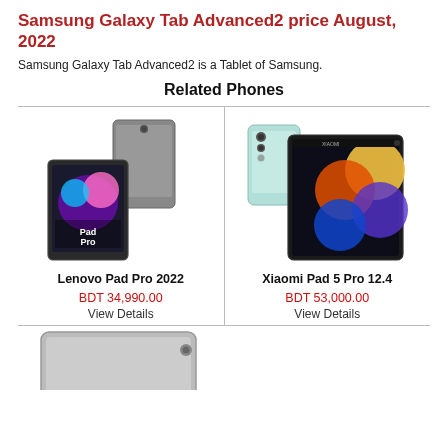Samsung Galaxy Tab Advanced2 price August, 2022
Samsung Galaxy Tab Advanced2 is a Tablet of Samsung.
Related Phones
[Figure (photo): Lenovo Pad Pro 2022 tablet device image]
Lenovo Pad Pro 2022
BDT 34,990.00
View Details
[Figure (photo): Xiaomi Pad 5 Pro 12.4 tablet device image]
Xiaomi Pad 5 Pro 12.4
BDT 53,000.00
View Details
[Figure (photo): Partial tablet device image at bottom left]